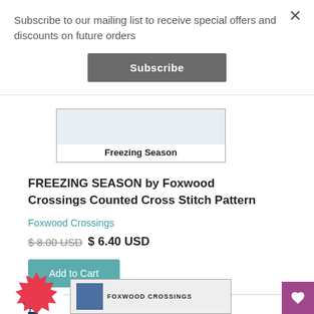Subscribe to our mailing list to receive special offers and discounts on future orders
Subscribe
[Figure (screenshot): Partial product image showing 'Freezing Season' label]
FREEZING SEASON by Foxwood Crossings Counted Cross Stitch Pattern
Foxwood Crossings
$8.00 USD  $ 6.40 USD
Add to Cart
[Figure (logo): Hot air balloon logo icon]
[Figure (screenshot): Partial product image at bottom showing FOXWOOD CROSSINGS text and blue box]
[Figure (other): Pink/red sale badge starburst at bottom left]
[Figure (other): Purple wishlist heart button at bottom right]